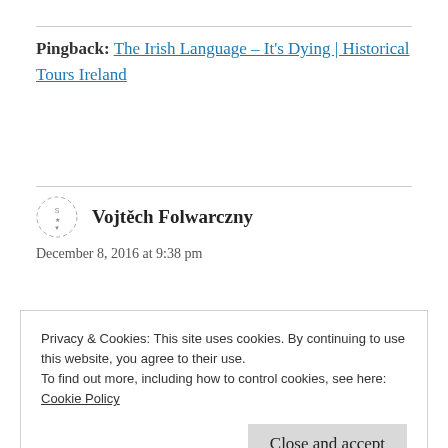Pingback: The Irish Language – It's Dying | Historical Tours Ireland
Vojtěch Folwarczny
December 8, 2016 at 9:38 pm
I mean its all about the global commerce. I am from the Czech Republic and our language
Privacy & Cookies: This site uses cookies. By continuing to use this website, you agree to their use.
To find out more, including how to control cookies, see here:
Cookie Policy
Close and accept
National revival of language. There was many